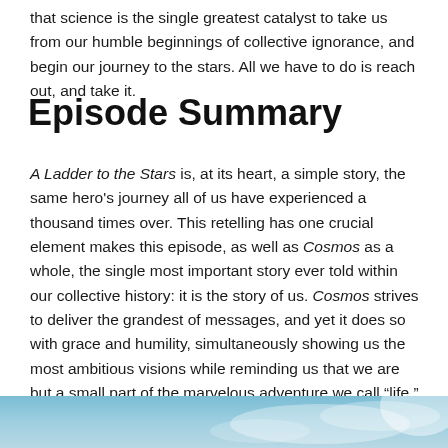that science is the single greatest catalyst to take us from our humble beginnings of collective ignorance, and begin our journey to the stars. All we have to do is reach out, and take it.
Episode Summary
A Ladder to the Stars is, at its heart, a simple story, the same hero's journey all of us have experienced a thousand times over. This retelling has one crucial element makes this episode, as well as Cosmos as a whole, the single most important story ever told within our collective history: it is the story of us. Cosmos strives to deliver the grandest of messages, and yet it does so with grace and humility, simultaneously showing us the most ambitious visions while reminding us that we are but a small part of the marvelous adventure we call “life.”
[Figure (photo): Partial view of a sky/cloud scene, light blue and white tones, appears to be a cropped photograph at the bottom of the page.]